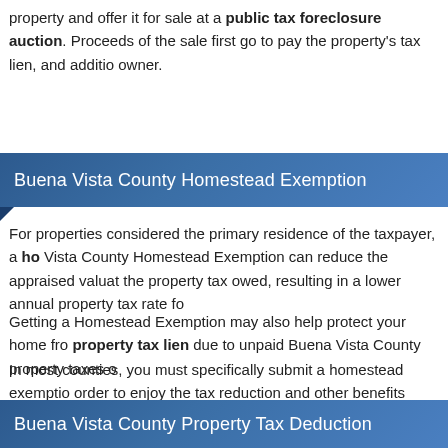property and offer it for sale at a public tax foreclosure auction. Proceeds of the sale first go to pay the property's tax lien, and additional proceeds are returned to the owner.
Buena Vista County Homestead Exemption
For properties considered the primary residence of the taxpayer, a Buena Vista County Homestead Exemption can reduce the appraised valuation of the property tax owed, resulting in a lower annual property tax rate for
Getting a Homestead Exemption may also help protect your home from a property tax lien due to unpaid Buena Vista County property taxes o
In most counties, you must specifically submit a homestead exemption in order to enjoy the tax reduction and other benefits available. To get a Exemption Application, call the Buena Vista County Assessor's Office exemption program. You can also ask about other exemptions that may apply to families, or property used for certain purposes such as farmland or op
Buena Vista County Property Tax Deduction